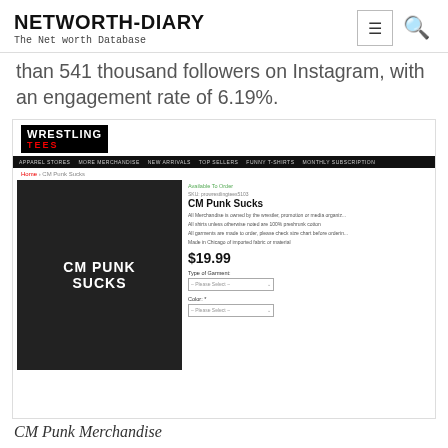NETWORTH-DIARY / The Net worth Database
than 541 thousand followers on Instagram, with an engagement rate of 6.19%.
[Figure (screenshot): Screenshot of Wrestling Tees website showing CM Punk Sucks t-shirt product page priced at $19.99]
CM Punk Merchandise